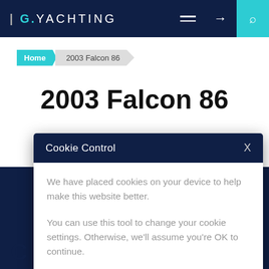TG.YACHTING
Home > 2003 Falcon 86
2003 Falcon 86
[Figure (screenshot): Cookie Control modal dialog overlaying a yacht listing page. Modal header reads 'Cookie Control' with an X close button on dark navy background. Body text reads: 'We have placed cookies on your device to help make this website better. You can use this tool to change your cookie settings. Otherwise, we'll assume you're OK to continue.']